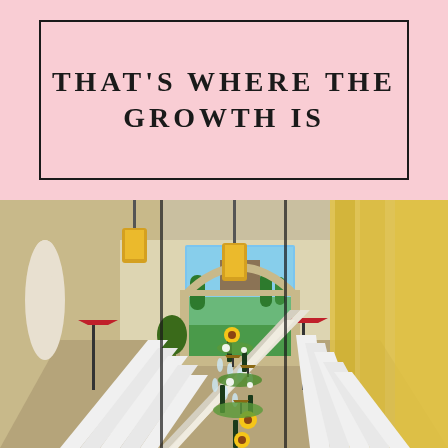THAT'S WHERE THE GROWTH IS
[Figure (photo): Elegant long dining table set for a formal banquet inside a villa with an arched window overlooking a green Tuscan landscape. Yellow hanging lanterns, red floor lamps, sunflowers and white flowers along the center of the table, wine glasses, and white lattice chairs on both sides.]